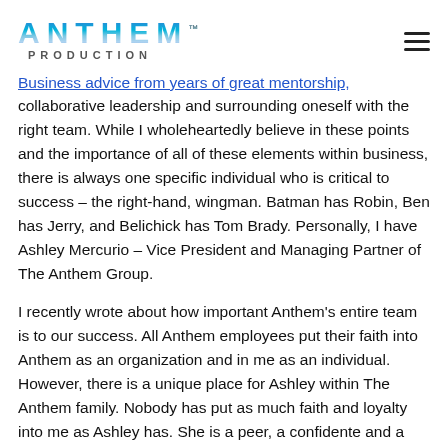ANTHEM PRODUCTION
Business advice from years of great mentorship, collaborative leadership and surrounding oneself with the right team. While I wholeheartedly believe in these points and the importance of all of these elements within business, there is always one specific individual who is critical to success – the right-hand, wingman. Batman has Robin, Ben has Jerry, and Belichick has Tom Brady. Personally, I have Ashley Mercurio – Vice President and Managing Partner of The Anthem Group.
I recently wrote about how important Anthem's entire team is to our success. All Anthem employees put their faith into Anthem as an organization and in me as an individual. However, there is a unique place for Ashley within The Anthem family. Nobody has put as much faith and loyalty into me as Ashley has. She is a peer, a confidente and a collaborator.